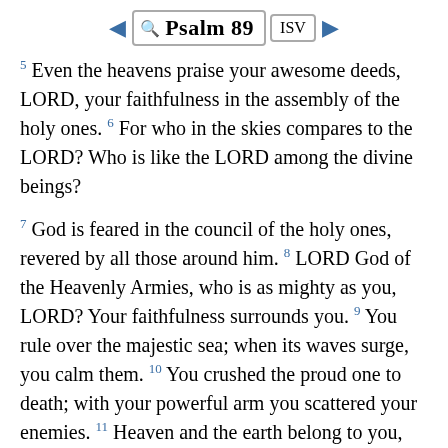Psalm 89 ISV
5 Even the heavens praise your awesome deeds, LORD, your faithfulness in the assembly of the holy ones. 6 For who in the skies compares to the LORD? Who is like the LORD among the divine beings?
7 God is feared in the council of the holy ones, revered by all those around him. 8 LORD God of the Heavenly Armies, who is as mighty as you, LORD? Your faithfulness surrounds you. 9 You rule over the majestic sea; when its waves surge, you calm them. 10 You crushed the proud one to death; with your powerful arm you scattered your enemies. 11 Heaven and the earth belong to you, the world and everything it contains you established them. 12 The north and south you created them; Tabor and Hermon joyously praise your name. 13 Your arm is strong; your hand is mighty; indeed, your right hand is victorious. 14 Righteousness and justice